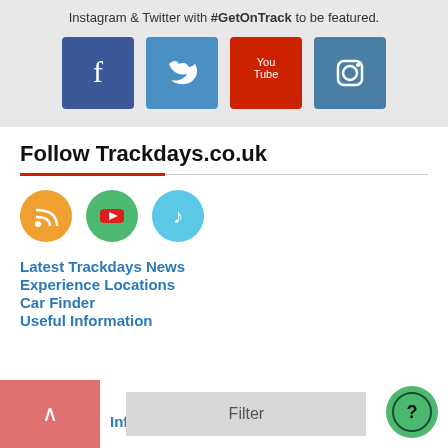Instagram & Twitter with #GetOnTrack to be featured.
[Figure (logo): Facebook, Twitter, YouTube, Instagram social media icons in colored boxes]
Follow Trackdays.co.uk
[Figure (logo): RSS (orange circle), YouTube (green circle), TikTok (blue circle) icons]
Latest Trackdays News
Experience Locations
Car Finder
Useful Information
Infographics
Filter